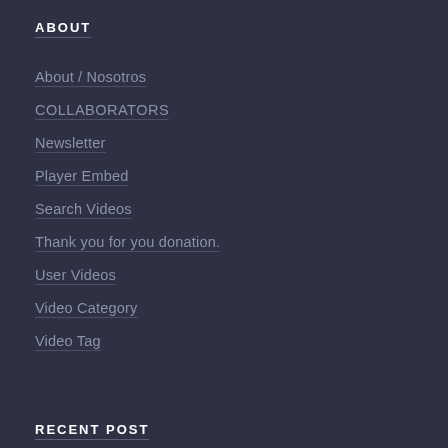ABOUT
About / Nosotros
COLLABORATORS
Newsletter
Player Embed
Search Videos
Thank you for you donation.
User Videos
Video Category
Video Tag
RECENT POST